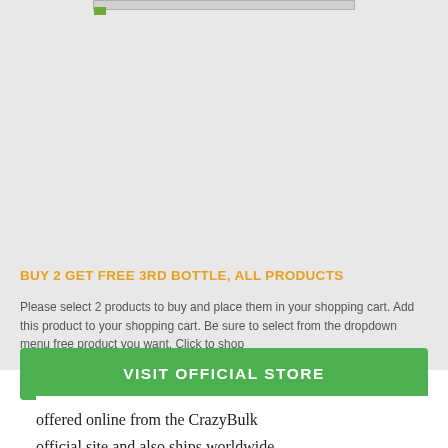[Figure (photo): Image placeholder at top of promotional box]
BUY 2 GET FREE 3RD BOTTLE, ALL PRODUCTS
Please select 2 products to buy and place them in your shopping cart. Add this product to your shopping cart. Be sure to select from the dropdown menu free product you want. Click to shop
VISIT OFFICIAL STORE
offered online from the CrazyBulk official site and also ships worldwide,